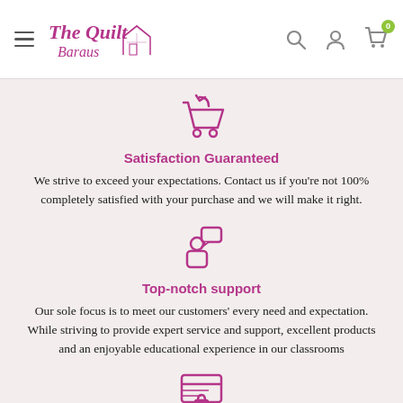The Quilt Baraus — navigation header with logo, hamburger menu, search, account, and cart icons
[Figure (illustration): Purple shopping cart with return arrow icon]
Satisfaction Guaranteed
We strive to exceed your expectations. Contact us if you're not 100% completely satisfied with your purchase and we will make it right.
[Figure (illustration): Purple person with speech bubble icon representing support]
Top-notch support
Our sole focus is to meet our customers' every need and expectation. While striving to provide expert service and support, excellent products and an enjoyable educational experience in our classrooms
[Figure (illustration): Purple credit card with lock icon]